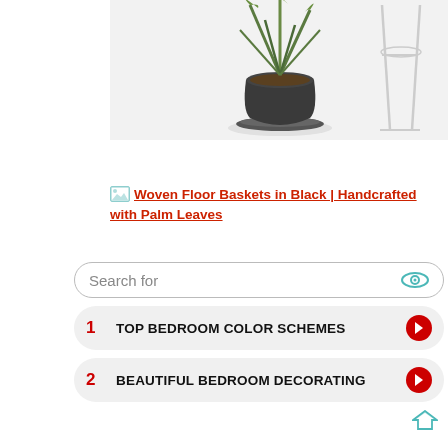[Figure (photo): A potted plant with tall green leaves in a black round pot with saucer, placed on a white surface next to a white metal stand/stool. White background.]
[image] Woven Floor Baskets in Black | Handcrafted with Palm Leaves
[Figure (infographic): Search widget advertisement. Search bar with eye icon reading 'Search for'. Two search result rows: 1 TOP BEDROOM COLOR SCHEMES, 2 BEAUTIFUL BEDROOM DECORATING. Arrow icons on right side.]